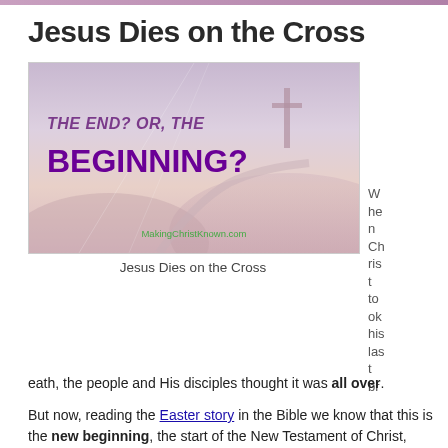Jesus Dies on the Cross
[Figure (illustration): Illustration with misty landscape background and cross silhouette. Text overlay reads 'THE END? OR, THE BEGINNING?' with watermark 'MakingChristKnown.com']
Jesus Dies on the Cross
When Christ took his last breath, the people and His disciples thought it was all over.
But now, reading the Easter story in the Bible we know that this is the new beginning, the start of the New Testament of Christ,